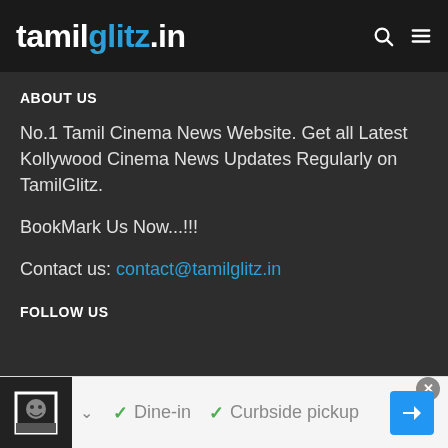tamilglitz.in
ABOUT US
No.1 Tamil Cinema News Website. Get all Latest Kollywood Cinema News Updates Regularly on TamilGlitz.
BookMark Us Now...!!!
Contact us: contact@tamilglitz.in
FOLLOW US
[Figure (screenshot): Bottom overlay bar with thumbnail image, chevron down arrow, checkmarks for Dine-in and Curbside pickup, and a blue navigation arrow button with close X button]